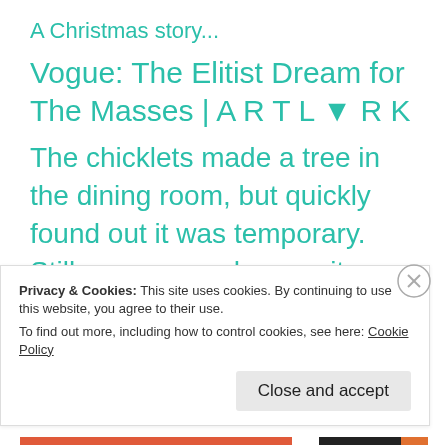A Christmas story...
Vogue: The Elitist Dream for The Masses | A R T L ▼ R K
The chicklets made a tree in the dining room, but quickly found out it was temporary. Still, everyone who saw it, thought it was quite impressive. | Rethinking Life
Privacy & Cookies: This site uses cookies. By continuing to use this website, you agree to their use.
To find out more, including how to control cookies, see here: Cookie Policy
Close and accept